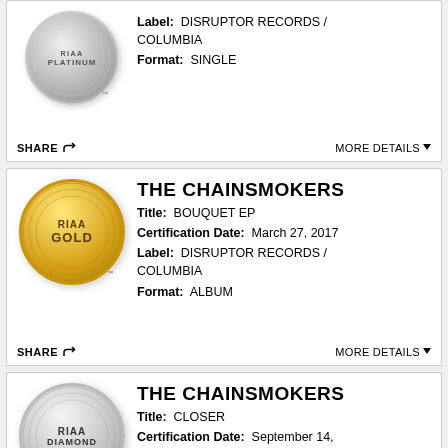[Figure (illustration): RIAA Platinum certification badge (circular silver/grey disc)]
Label: DISRUPTOR RECORDS / COLUMBIA
Format: SINGLE
SHARE
MORE DETAILS
[Figure (illustration): RIAA Gold certification badge (circular gold disc)]
THE CHAINSMOKERS
Title: BOUQUET EP
Certification Date: March 27, 2017
Label: DISRUPTOR RECORDS / COLUMBIA
Format: ALBUM
SHARE
MORE DETAILS
[Figure (illustration): RIAA Diamond certification badge (circular silver/grey disc)]
THE CHAINSMOKERS
Title: CLOSER
Certification Date: September 14, 2016